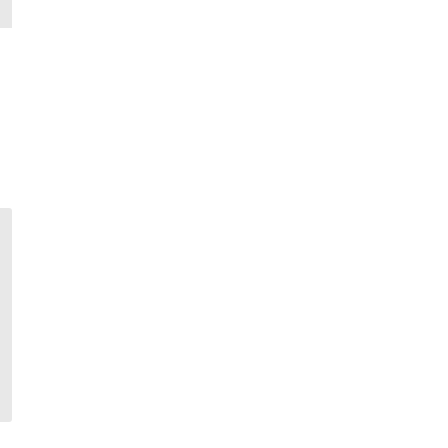[Figure (screenshot): File browser/wiki page showing image thumbnails with metadata. Top row shows partial size cells: 3.6 KB and 7.3 (truncated). Middle row: card for gdevelop_co.png (gdevelop 5:behaviors:gdevelop_co.png, gdevelop_...., 309x303, 2021/11/22 23:06, 34.1 KB) and partial card for gd... 5:beh:gdeve:valia:sit... gdeve... (400s, 2021/..., 23:..., 48.7...). Bottom row: card for health-behavior-properties.png (gdevelop 5:behaviors:health-behavior-properties.png, health-beh..., 2021/...) and partial card for gd... 5:beh:hinge:em... hinged... 220x...]